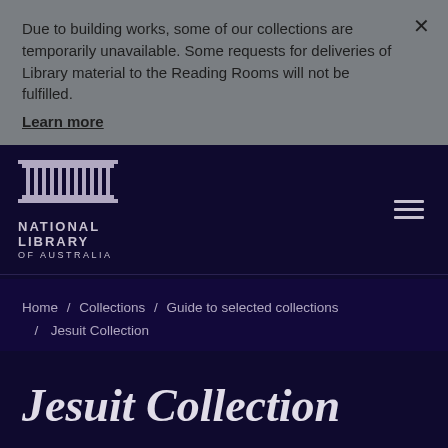Due to building works, some of our collections are temporarily unavailable. Some requests for deliveries of Library material to the Reading Rooms will not be fulfilled. Learn more
[Figure (logo): National Library of Australia logo with classical building columns icon and text NATIONAL LIBRARY OF AUSTRALIA]
Home / Collections / Guide to selected collections / Jesuit Collection
Jesuit Collection